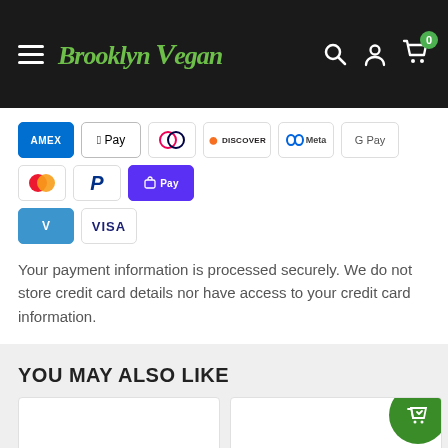Brooklyn Vegan — navigation header with hamburger menu, logo, search, account, cart (0)
[Figure (logo): Payment method icons: Amex, Apple Pay, Diners, Discover, Meta, Google Pay, Mastercard, PayPal, ShopPay, Venmo, Visa]
Your payment information is processed securely. We do not store credit card details nor have access to your credit card information.
YOU MAY ALSO LIKE
[Figure (photo): Product card image area (blank white) and partially visible second product card with 'Serpents of S...' label and green shopping bag button]